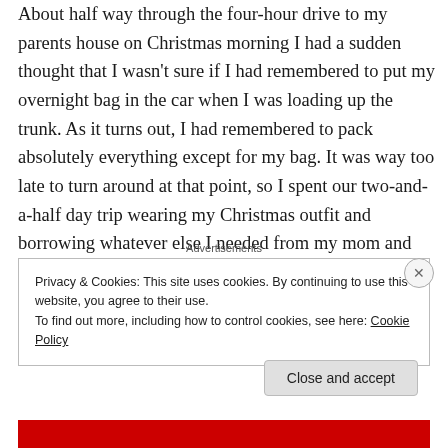About half way through the four-hour drive to my parents house on Christmas morning I had a sudden thought that I wasn't sure if I had remembered to put my overnight bag in the car when I was loading up the trunk. As it turns out, I had remembered to pack absolutely everything except for my bag. It was way too late to turn around at that point, so I spent our two-and-a-half day trip wearing my Christmas outfit and borrowing whatever else I needed from my mom and my sister-in-law. Oh, the fun never ends! Continue reading →
Advertisements
Privacy & Cookies: This site uses cookies. By continuing to use this website, you agree to their use. To find out more, including how to control cookies, see here: Cookie Policy
Close and accept